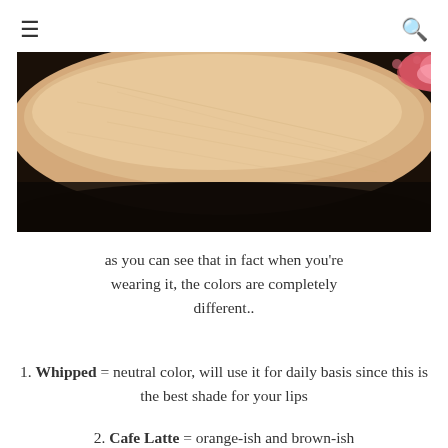≡  🔍
[Figure (photo): Close-up photo of a person's forearm/wrist area showing skin with a small reddish patch or rash, against a dark background]
as you can see that in fact when you're wearing it, the colors are completely different..
1. Whipped = neutral color, will use it for daily basis since this is the best shade for your lips
2. Cafe Latte = orange-ish and brown-ish